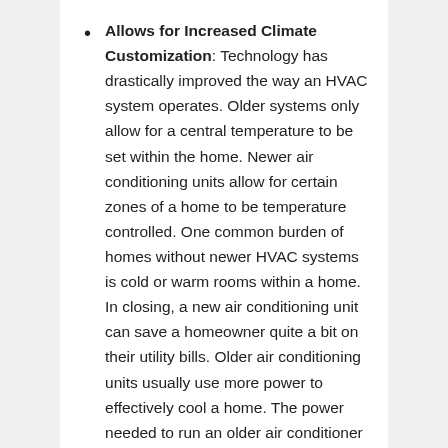Allows for Increased Climate Customization: Technology has drastically improved the way an HVAC system operates. Older systems only allow for a central temperature to be set within the home. Newer air conditioning units allow for certain zones of a home to be temperature controlled. One common burden of homes without newer HVAC systems is cold or warm rooms within a home. In closing, a new air conditioning unit can save a homeowner quite a bit on their utility bills. Older air conditioning units usually use more power to effectively cool a home. The power needed to run an older air conditioner is